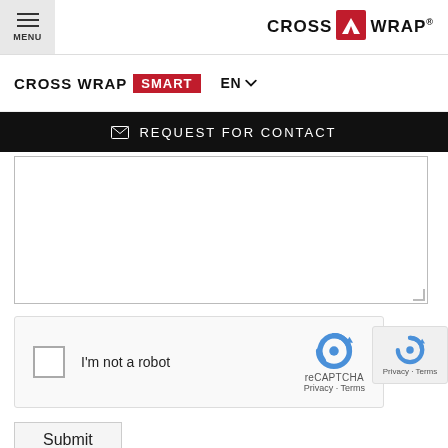[Figure (logo): CrossWrap logo with arrow icon and registered trademark]
CROSS WRAP SMART  EN
REQUEST FOR CONTACT
[Figure (screenshot): Text area input field (empty)]
[Figure (screenshot): reCAPTCHA checkbox widget: I'm not a robot, with reCAPTCHA logo, Privacy and Terms links]
Submit